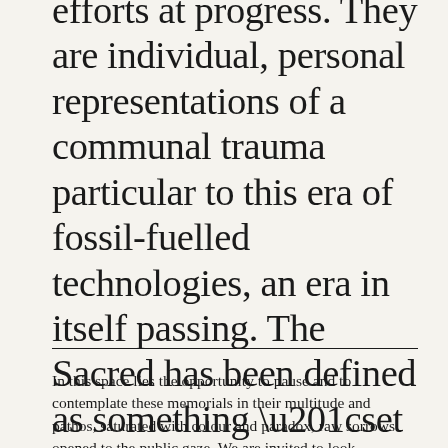efforts at progress. They are individual, personal representations of a communal trauma particular to this era of fossil-fuelled technologies, an era in itself passing. The Sacred has been defined as something “set aside” and dedicated, a discrete fixed point where meaning gains coherence.
In this space lies the opportunity to pause and to contemplate these memorials in their multitude and pathos, saturated with colour and paradox, raw sorrows opened to the public gaze. We are invited to look